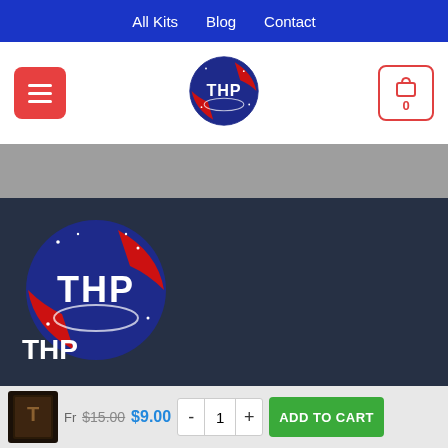All Kits  Blog  Contact
[Figure (logo): THP NASA-style circular logo with red swoosh and white text]
[Figure (logo): THP NASA-style circular logo large version in dark section]
THP
13 Avenue Ginette Neveu
44800 Saint-Herblain
Fr  $15.00  $9.00  -  1  +  ADD TO CART